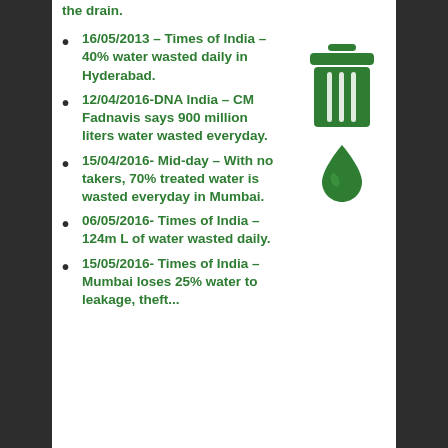16/05/2013 – Times of India – 40% water wasted daily in Hyderabad.
12/04/2016-DNA India – CM Fadnavis says 900 million liters water wasted everyday.
15/04/2016- Mid-day – With no takers, 70% treated water is wasted everyday in Mumbai.
06/05/2016- Times of India – 124m L of water wasted daily.
15/05/2016- Times of India – Mumbai loses 25% water to leakage, theft...
[Figure (illustration): Green trash can icon with a green water drop below it, representing water waste.]